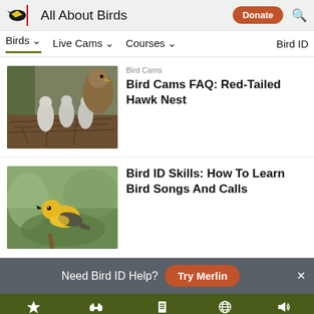All About Birds — Donate | Search
Birds | Live Cams | Courses | Bird ID
Bird Cams
Bird Cams FAQ: Red-Tailed Hawk Nest
[Figure (photo): Young Red-Tailed Hawk chicks in a nest]
Bird ID Skills: How To Learn Bird Songs And Calls
[Figure (photo): Yellow warbler bird perched on a branch]
Need Bird ID Help? Try Merlin
Overview | ID info | Life History | Maps | Sounds